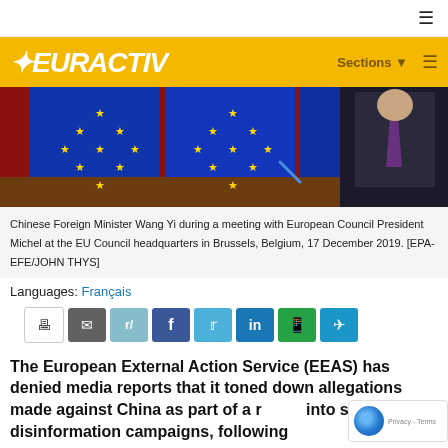EURACTIV — Sections navigation
[Figure (photo): Chinese Foreign Minister Wang Yi during a meeting with European Council President Michel at the EU Council headquarters in Brussels, Belgium, 17 December 2019. EU and Chinese flags visible in background, person in dark suit on right side.]
Chinese Foreign Minister Wang Yi during a meeting with European Council President Michel at the EU Council headquarters in Brussels, Belgium, 17 December 2019. [EPA-EFE/JOHN THYS]
Languages: Français
[Figure (infographic): Social sharing buttons: print, email, reddit, facebook, twitter, linkedin, whatsapp, telegram]
The European External Action Service (EEAS) has denied media reports that it toned down allegations made against China as part of a report into state-led disinformation campaigns, following